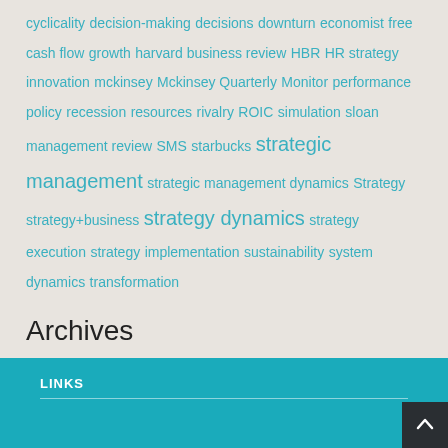cyclicality decision-making decisions downturn economist free cash flow growth harvard business review HBR HR strategy innovation mckinsey Mckinsey Quarterly Monitor performance policy recession resources rivalry ROIC simulation sloan management review SMS starbucks strategic management strategic management dynamics Strategy strategy+business strategy dynamics strategy execution strategy implementation sustainability system dynamics transformation
Archives
[Figure (screenshot): A dropdown select box labeled 'Select Month' with a chevron/arrow icon]
LINKS